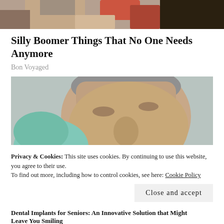[Figure (photo): Top portion of a partially visible image showing people, cropped at the top of the page]
Silly Boomer Things That No One Needs Anymore
Bon Voyaged
[Figure (photo): Close-up photo of an elderly man at a dentist, with a gloved hand holding dental implant color samples near his open mouth]
Privacy & Cookies: This site uses cookies. By continuing to use this website, you agree to their use.
To find out more, including how to control cookies, see here: Cookie Policy
Close and accept
Dental Implants for Seniors: An Innovative Solution that Might Leave You Smiling